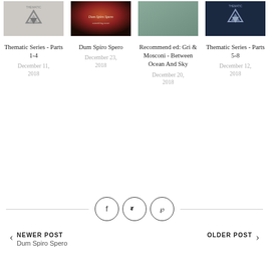[Figure (photo): Thematic Series Parts 1-4 album art - geometric triangle logo on light background]
Thematic Series - Parts 1-4
December 11, 2018
[Figure (photo): Dum Spiro Spero album art - red dramatic sky]
Dum Spiro Spero
December 23, 2018
[Figure (photo): Recommended: Gri & Mosconi - Between Ocean And Sky album art - teal textured surface]
Recommend ed: Gri & Mosconi - Between Ocean And Sky
December 20, 2018
[Figure (photo): Thematic Series Parts 5-8 album art - geometric triangle logo on dark blue background]
Thematic Series - Parts 5-8
December 12, 2018
[Figure (infographic): Social sharing bar with Facebook, Twitter, and Pinterest circle icon buttons flanked by horizontal lines]
NEWER POST
Dum Spiro Spero
OLDER POST